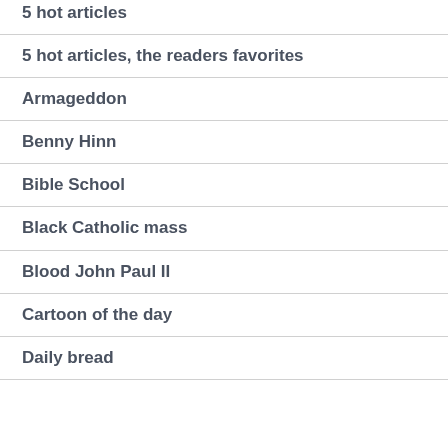5 hot articles
5 hot articles, the readers favorites
Armageddon
Benny Hinn
Bible School
Black Catholic mass
Blood John Paul II
Cartoon of the day
Daily bread